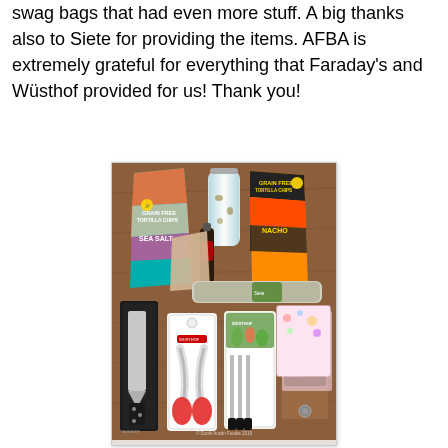swag bags that had even more stuff. A big thanks also to Siete for providing the items. AFBA is extremely grateful for everything that Faraday's and Wüsthof provided for us! Thank you!
[Figure (photo): Photo of swag bag items laid out on a wooden table: two bags of Siete grain free tortilla chips (Sea Salt and Nacho flavors), a tumbler, a small bottle, kitchen knives in a box, kitchen scissors in packaging, Wüsthof paring knives in packaging, a bag of Third Coast Coffee, and a decorative notebook. Watermark reads '© South Austin Foodie 2019'.]